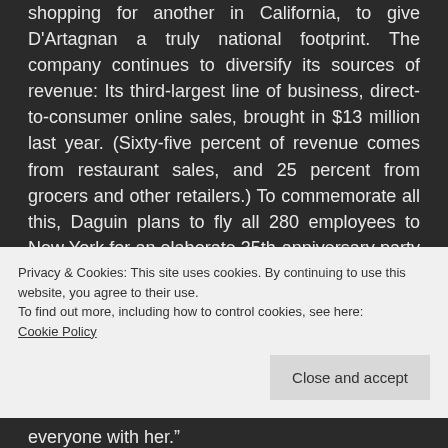shopping for another in California, to give D'Artagnan a truly national footprint. The company continues to diversify its sources of revenue: Its third-largest line of business, direct-to-consumer online sales, brought in $13 million last year. (Sixty-five percent of revenue comes from restaurant sales, and 25 percent from grocers and other retailers.) To commemorate all this, Daguin plans to fly all 280 employees to New York for an elaborate 35th-anniversary party in early 2020. Which
Privacy & Cookies: This site uses cookies. By continuing to use this website, you agree to their use.
To find out more, including how to control cookies, see here:
Cookie Policy
everyone with her."